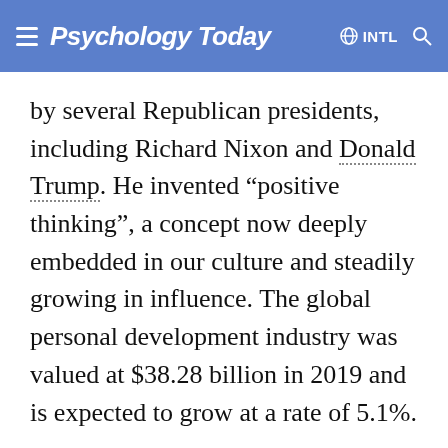Psychology Today  INTL
by several Republican presidents, including Richard Nixon and Donald Trump. He invented “positive thinking”, a concept now deeply embedded in our culture and steadily growing in influence. The global personal development industry was valued at $38.28 billion in 2019 and is expected to grow at a rate of 5.1%.
ARTICLE CONTINUES AFTER ADVERTISEMENT